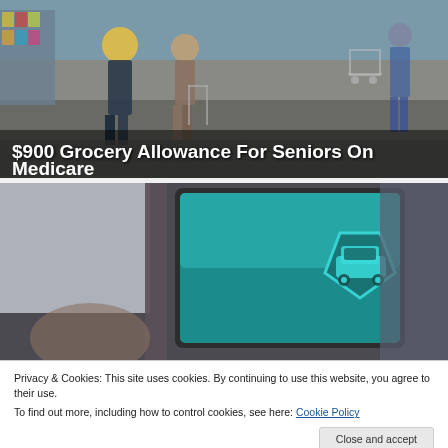[Figure (photo): Photo of seniors shopping in a grocery store aisle with shopping carts, overlaid with text advertising a $900 Grocery Allowance for Seniors On Medicare from bestmedicareplans.com]
$900 Grocery Allowance For Seniors On Medicare
bestmedicareplans.com
[Figure (photo): Photo of a tablet or device showing a teal/green car key or car insurance icon on screen]
Privacy & Cookies: This site uses cookies. By continuing to use this website, you agree to their use. To find out more, including how to control cookies, see here: Cookie Policy
[Figure (photo): Partial photo at bottom of page, partially obscured]